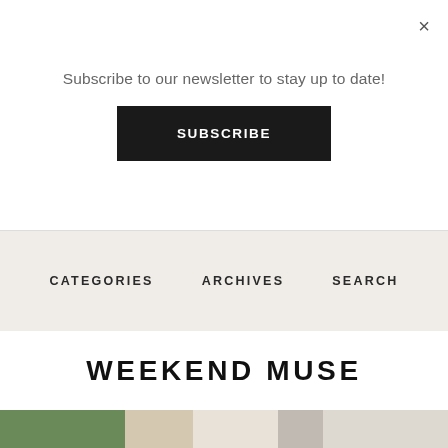Subscribe to our newsletter to stay up to date!
×
SUBSCRIBE
CATEGORIES   ARCHIVES   SEARCH
WEEKEND MUSE
[Figure (photo): Interior design photo showing a plant with palm-like leaves and framed artwork on the left, and a pendant lamp with black shades over a white shelving unit with decorative objects on the right]